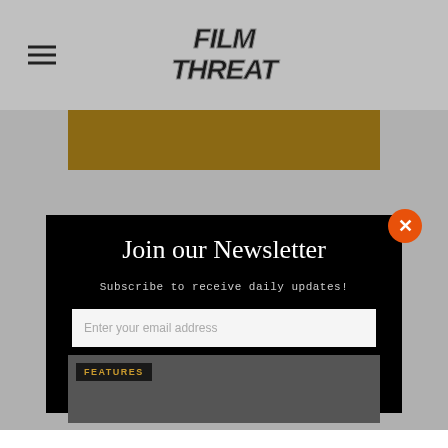[Figure (logo): Film Threat website header with hamburger menu icon and Film Threat logo in stylized bold italic text]
[Figure (screenshot): Gold/brown colored banner image area behind modal]
Join our Newsletter
Subscribe to receive daily updates!
Enter your email address
SIGN UP
[Figure (photo): Features section photo strip showing group of people]
FEATURES